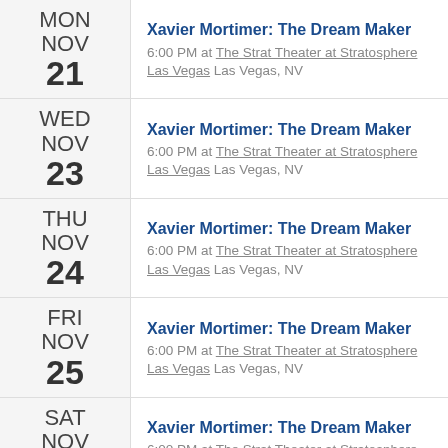MON NOV 21 — Xavier Mortimer: The Dream Maker — 6:00 PM at The Strat Theater at Stratosphere Las Vegas Las Vegas, NV
WED NOV 23 — Xavier Mortimer: The Dream Maker — 6:00 PM at The Strat Theater at Stratosphere Las Vegas Las Vegas, NV
THU NOV 24 — Xavier Mortimer: The Dream Maker — 6:00 PM at The Strat Theater at Stratosphere Las Vegas Las Vegas, NV
FRI NOV 25 — Xavier Mortimer: The Dream Maker — 6:00 PM at The Strat Theater at Stratosphere Las Vegas Las Vegas, NV
SAT NOV 26 — Xavier Mortimer: The Dream Maker — 6:00 PM at The Strat Theater at Stratosphere Las Vegas Las Vegas, NV
SUN NOV 27 — Xavier Mortimer: The Dream Maker — 6:00 PM at The Strat Theater at Stratosphere Las Vegas Las Vegas, NV
MON (partial)